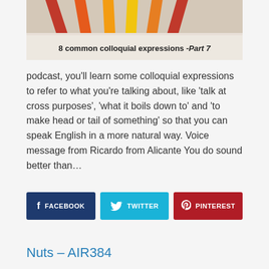[Figure (photo): Image showing colored pencils fanned out at top with text overlay reading '8 common colloquial expressions - Part 7' on a light beige background]
podcast, you'll learn some colloquial expressions to refer to what you're talking about, like 'talk at cross purposes', 'what it boils down to' and 'to make head or tail of something' so that you can speak English in a more natural way. Voice message from Ricardo from Alicante You do sound better than…
[Figure (infographic): Social sharing buttons: FACEBOOK (dark blue), TWITTER (cyan), PINTEREST (dark red)]
Nuts – AIR384